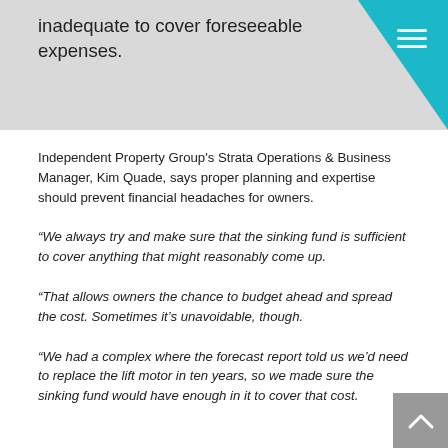inadequate to cover foreseeable expenses.
Independent Property Group's Strata Operations & Business Manager, Kim Quade, says proper planning and expertise should prevent financial headaches for owners.
“We always try and make sure that the sinking fund is sufficient to cover anything that might reasonably come up.
“That allows owners the chance to budget ahead and spread the cost. Sometimes it’s unavoidable, though.
“We had a complex where the forecast report told us we’d need to replace the lift motor in ten years, so we made sure the sinking fund would have enough in it to cover that cost.